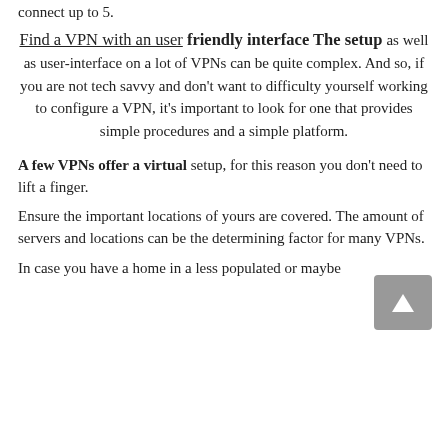connect up to 5.
Find a VPN with an user friendly interface The setup as well as user-interface on a lot of VPNs can be quite complex. And so, if you are not tech savvy and don't want to difficulty yourself working to configure a VPN, it's important to look for one that provides simple procedures and a simple platform.
A few VPNs offer a virtual setup, for this reason you don't need to lift a finger.
Ensure the important locations of yours are covered. The amount of servers and locations can be the determining factor for many VPNs.
In case you have a home in a less populated or maybe